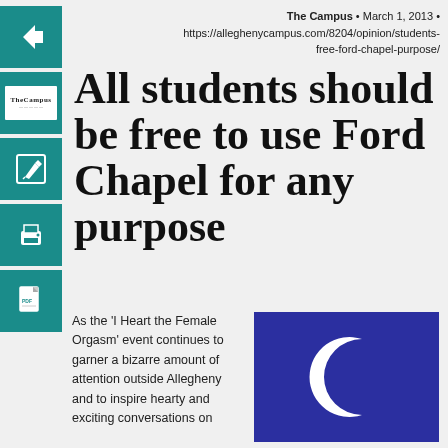[Figure (other): Back arrow button (teal/green square icon)]
[Figure (logo): The Campus newspaper logo (teal square with white newspaper image)]
[Figure (other): Edit/pencil icon button (teal square)]
[Figure (other): Print icon button (teal square)]
[Figure (other): PDF/document icon button (teal square)]
The Campus • March 1, 2013 • https://alleghenycampus.com/8204/opinion/students-free-ford-chapel-purpose/
All students should be free to use Ford Chapel for any purpose
As the 'I Heart the Female Orgasm' event continues to garner a bizarre amount of attention outside Allegheny and to inspire hearty and exciting conversations on
[Figure (logo): The Campus newspaper logo — white crescent C on dark blue/indigo background]